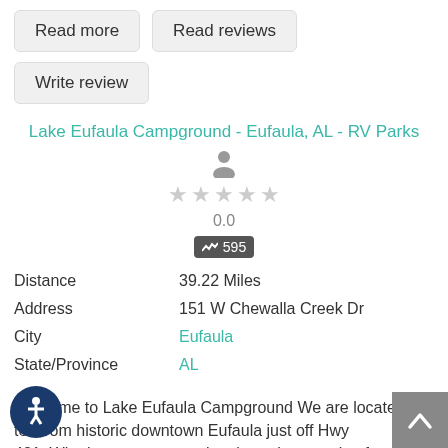Read more
Read reviews
Write review
Lake Eufaula Campground - Eufaula, AL - RV Parks
0.0
595
Distance   39.22 Miles
Address   151 W Chewalla Creek Dr
City   Eufaula
State/Province   AL
Welcome to Lake Eufaula Campground We are located tes from historic downtown Eufaula just off Hwy 421. Whether you are passing through or staying for